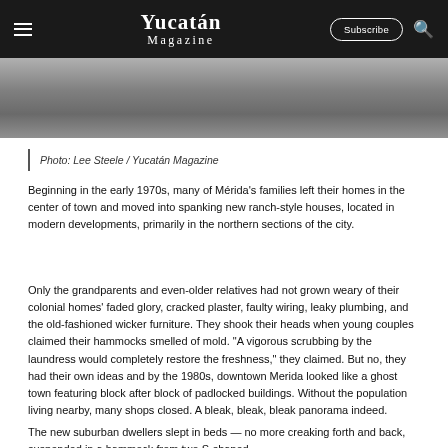Yucatán Magazine — Subscribe | Search
[Figure (photo): Top portion of a photograph showing an outdoor scene, partially visible at top of page]
Photo: Lee Steele / Yucatán Magazine
Beginning in the early 1970s, many of Mérida's families left their homes in the center of town and moved into spanking new ranch-style houses, located in modern developments, primarily in the northern sections of the city.
Only the grandparents and even-older relatives had not grown weary of their colonial homes' faded glory, cracked plaster, faulty wiring, leaky plumbing, and the old-fashioned wicker furniture. They shook their heads when young couples claimed their hammocks smelled of mold. "A vigorous scrubbing by the laundress would completely restore the freshness," they claimed. But no, they had their own ideas and by the 1980s, downtown Merida looked like a ghost town featuring block after block of padlocked buildings. Without the population living nearby, many shops closed. A bleak, bleak, bleak panorama indeed.
The new suburban dwellers slept in beds — no more creaking forth and back, suspended in a hammock from two S-shaped